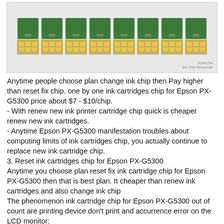[Figure (photo): Photo of multiple ink cartridge chips arranged in a row on a gray surface. Green circuit boards with gold contacts visible on top, yellow/gold contact pads on the bottom of transparent cartridge bodies.]
Anytime people choose plan change ink chip then Pay higher than reset fix chip. one by one ink cartridges chip for Epson PX-G5300 price about $7 - $10/chip.
- With renew new ink printer cartridge chip quick is cheaper renew new ink cartridges.
- Anytime Epson PX-G5300 manifestation troubles about computing limits of ink cartridges chip, you actually continue to replace new ink cartridge chip.
3. Reset ink cartridges chip for Epson PX-G5300
Anytime you choose plan reset fix ink cartridge chip for Epson PX-G5300 then that is best plan. It cheaper than renew ink cartridges and also change ink chip
The phenomenon ink cartridge chip for Epson PX-G5300 out of count are printing device don't print and accurrence error on the LCD monitor:
- "ink low", "ink eppty", on monitor laptop or computer and also desktop display yellow exclamation mark corresponding color, on monitor inkjet printer report ink empty.